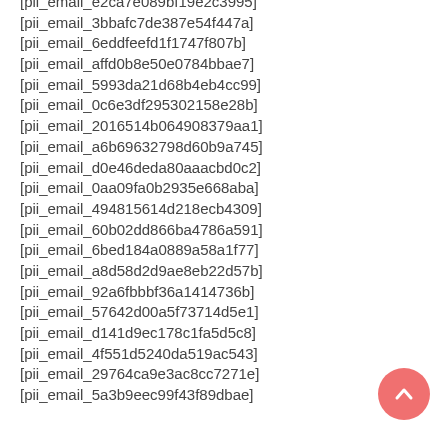[pii_email_e2ca7e089bf19e2c3995]
[pii_email_3bbafc7de387e54f447a]
[pii_email_6eddfeefd1f1747f807b]
[pii_email_affd0b8e50e0784bbae7]
[pii_email_5993da21d68b4eb4cc99]
[pii_email_0c6e3df295302158e28b]
[pii_email_2016514b064908379aa1]
[pii_email_a6b69632798d60b9a745]
[pii_email_d0e46deda80aaacbd0c2]
[pii_email_0aa09fa0b2935e668aba]
[pii_email_494815614d218ecb4309]
[pii_email_60b02dd866ba4786a591]
[pii_email_6bed184a0889a58a1f77]
[pii_email_a8d58d2d9ae8eb22d57b]
[pii_email_92a6fbbbf36a1414736b]
[pii_email_57642d00a5f73714d5e1]
[pii_email_d141d9ec178c1fa5d5c8]
[pii_email_4f551d5240da519ac543]
[pii_email_29764ca9e3ac8cc7271e]
[pii_email_5a3b9eec99f43f89dbae]